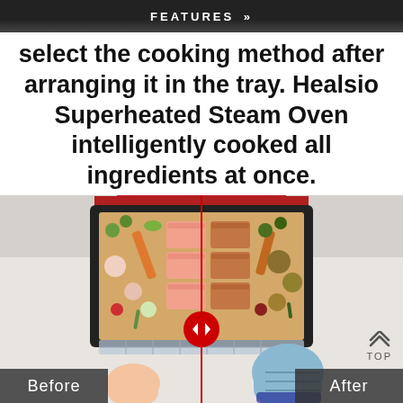FEATURES »
select the cooking method after arranging it in the tray. Healsio Superheated Steam Oven intelligently cooked all ingredients at once.
[Figure (photo): Top-down view of a Healsio Superheated Steam Oven tray containing raw salmon fillets, vegetables (carrots, radishes, Brussels sprouts, zucchini, tomatoes, green onions) on the left (Before) side and cooked versions on the right (After) side, with a red vertical divider line and a circular red slider control. A hand with a blue oven mitt is visible holding the tray. A 'TOP' navigation button is in the lower right.]
Before
After